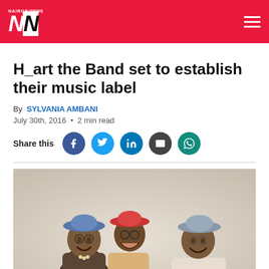NAIROBI NEWS NN
H_art the Band set to establish their music label
By SYLVANIA AMBANI
July 30th, 2016 • 2 min read
Share this [facebook] [twitter] [linkedin] [email] [whatsapp]
[Figure (photo): Three young people wearing bucket hats, laughing and smiling together against a white background.]